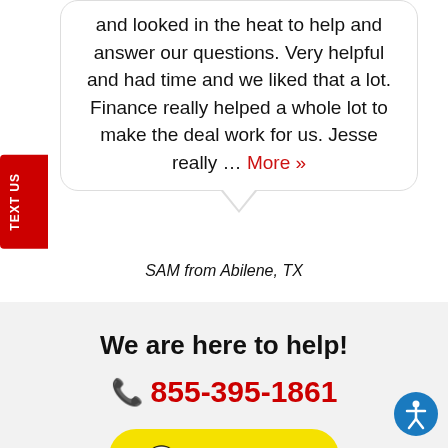and looked in the heat to help and answer our questions. Very helpful and had time and we liked that a lot. Finance really helped a whole lot to make the deal work for us. Jesse really … More »
SAM from Abilene, TX
TEXT US
We are here to help!
855-395-1861
Contact Us